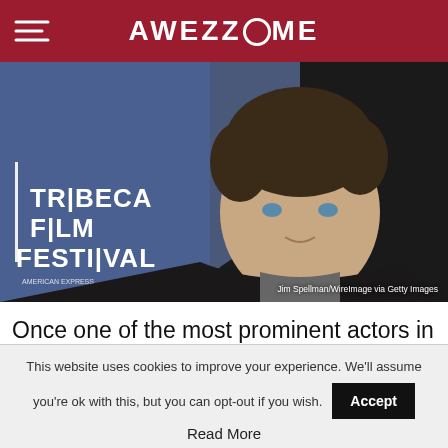AWEZZOME
[Figure (photo): Man standing in front of Tribeca Film Festival backdrop, photo credit: Jim Spellman/WireImage via Getty Images]
Jim Spellman/WireImage via Getty Images
Once one of the most prominent actors in Hollywood, star of 'George of the Jungle' and 'The
This website uses cookies to improve your experience. We'll assume you're ok with this, but you can opt-out if you wish.
Read More